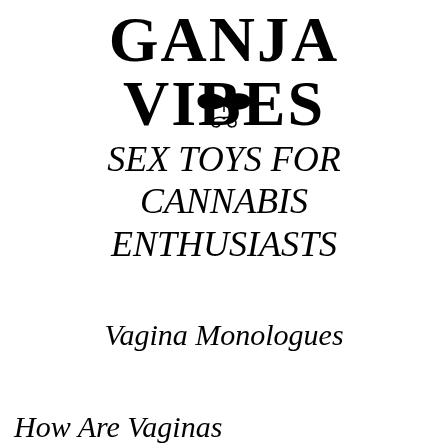GANJA VIBES
[Figure (illustration): Decorative ornament: a stylized butterfly or leaf motif with scrollwork beneath it]
SEX TOYS FOR CANNABIS ENTHUSIASTS
Vagina Monologues
How Are Vaginas